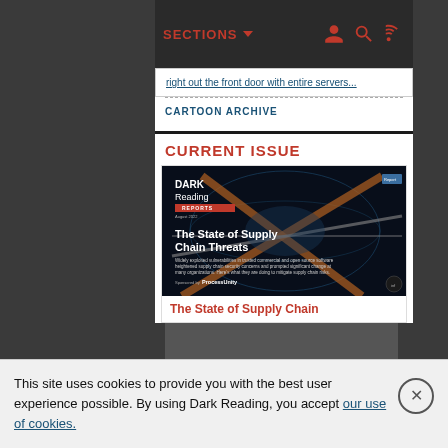SECTIONS ▼
right out the front door with entire servers...
CARTOON ARCHIVE
CURRENT ISSUE
[Figure (illustration): Dark Reading Reports cover — 'The State of Supply Chain Threats' with subtitle about widely exploited vulnerabilities in trusted commercial and open source software. Sponsored by ProcessUnity and Informa Tech.]
The State of Supply Chain
This site uses cookies to provide you with the best user experience possible. By using Dark Reading, you accept our use of cookies.